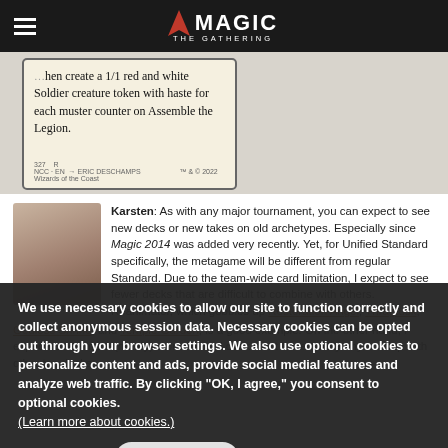Magic: The Gathering
[Figure (photo): Magic: The Gathering card showing text about creating 1/1 red and white Soldier creature token with haste for each muster counter on Assemble the Legion.]
Karsten: As with any major tournament, you can expect to see new decks or new takes on old archetypes. Especially since Magic 2014 was added very recently. Yet, for Unified Standard specifically, the metagame will be different from regular Standard. Due to the team-wide card limitation, I expect to see fewer decks that are difficult to combine with others. Reanimator, which gobbles up Restoration Angel, Thragtusk, Godless Shrine, and Temple Garden, is a good example. On the other hand, I expect to see more (nearly) monocolored decks that have hardly any overlap with other top decks.
We use necessary cookies to allow our site to function correctly and collect anonymous session data. Necessary cookies can be opted out through your browser settings. We also use optional cookies to personalize content and ads, provide social medial features and analyze web traffic. By clicking “OK, I agree,” you consent to optional cookies.
(Learn more about cookies.)